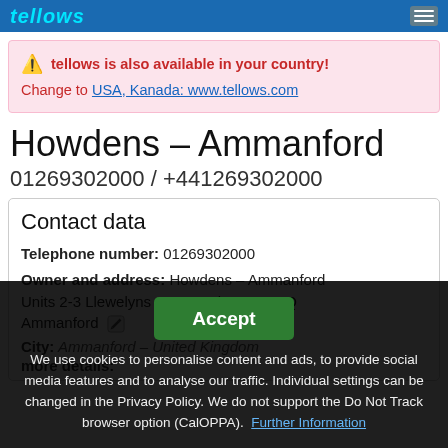tellows
tellows is also available in your country! Change to USA, Kanada: www.tellows.com
Howdens – Ammanford
01269302000 / +441269302000
Contact data
Telephone number: 01269302000
Owner and address: Howdens – Ammanford Units 2-3 Llewelyns Courtyard SA18 2HQ Ammanford
City: Ammanford – United Kingdom
more details:
We use cookies to personalise content and ads, to provide social media features and to analyse our traffic. Individual settings can be changed in the Privacy Policy. We do not support the Do Not Track browser option (CalOPPA). Further Information